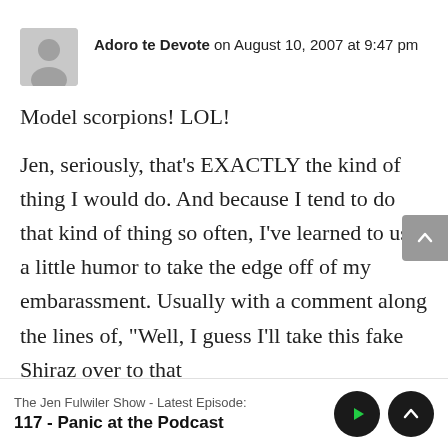Adoro te Devote on August 10, 2007 at 9:47 pm
Model scorpions! LOL!

Jen, seriously, that's EXACTLY the kind of thing I would do. And because I tend to do that kind of thing so often, I've learned to use a little humor to take the edge off of my embarassment. Usually with a comment along the lines of, "Well, I guess I'll take this fake Shiraz over to that corner and drink it while I finish off my...
The Jen Fulwiler Show - Latest Episode:
117 - Panic at the Podcast